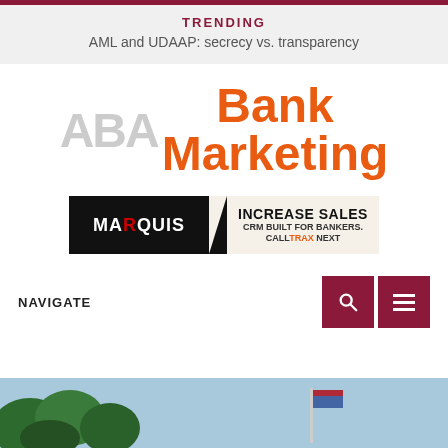TRENDING
AML and UDAAP: secrecy vs. transparency
[Figure (logo): ABA Bank Marketing logo — 'ABA' in gray, 'Bank Marketing' in orange bold text]
[Figure (infographic): Marquis advertisement banner: 'INCREASE SALES / CRM BUILT FOR BANKERS. / CALLTRAX NEXT']
NAVIGATE
[Figure (photo): Outdoor photo showing trees and a flag against a blue sky]